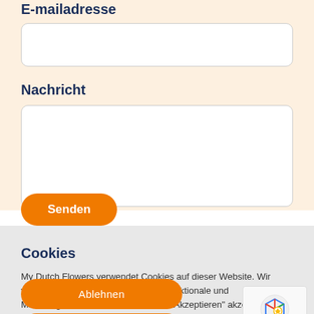E-mailadresse
[Figure (screenshot): Empty email input text field with rounded borders on light orange background]
Nachricht
[Figure (screenshot): Empty message textarea with rounded borders on light orange background]
[Figure (screenshot): Orange 'Senden' button with rounded corners]
Cookies
My Dutch Flowers verwendet Cookies auf dieser Website. Wir verwenden Cookies für statistische, funktionale und Marketingzwecke. Durch Klicken auf "Akzeptieren" akzeptieren Sie die Verwendung aller Cookies, wie beschrieben in unserer Cookie-Erklärung und Datenschutzerklärung.
[Figure (screenshot): Two orange rounded buttons: 'Ablehnen' and 'Akzeptieren']
[Figure (screenshot): reCAPTCHA widget with Privacy and Terms links]